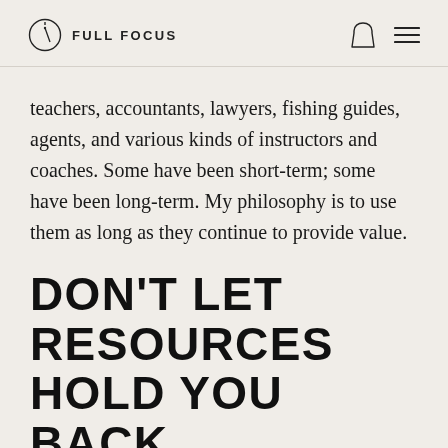FULL FOCUS
teachers, accountants, lawyers, fishing guides, agents, and various kinds of instructors and coaches. Some have been short-term; some have been long-term. My philosophy is to use them as long as they continue to provide value.
DON'T LET RESOURCES HOLD YOU BACK